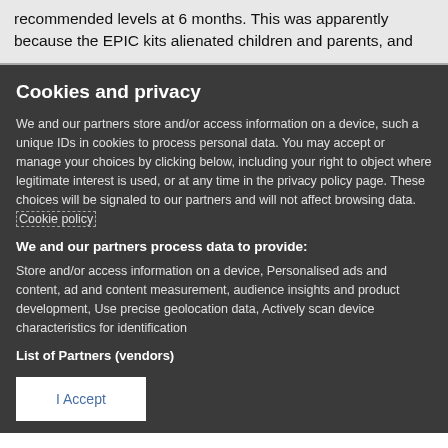recommended levels at 6 months. This was apparently because the EPIC kits alienated children and parents, and
Cookies and privacy
We and our partners store and/or access information on a device, such a unique IDs in cookies to process personal data. You may accept or manage your choices by clicking below, including your right to object where legitimate interest is used, or at any time in the privacy policy page. These choices will be signaled to our partners and will not affect browsing data. Cookie policy
We and our partners process data to provide:
Store and/or access information on a device, Personalised ads and content, ad and content measurement, audience insights and product development, Use precise geolocation data, Actively scan device characteristics for identification
List of Partners (vendors)
I Accept